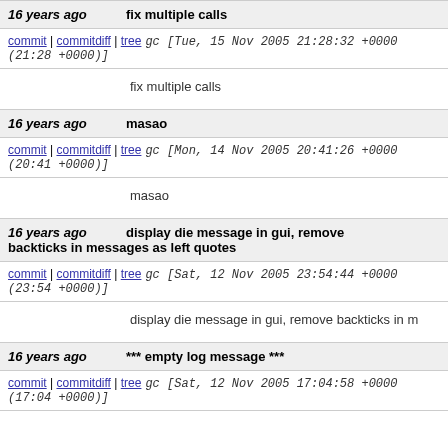| 16 years ago | fix multiple calls |
| commit | commitdiff | tree | gc [Tue, 15 Nov 2005 21:28:32 +0000 (21:28 +0000)] |
|  | fix multiple calls |
| 16 years ago | masao |
| commit | commitdiff | tree | gc [Mon, 14 Nov 2005 20:41:26 +0000 (20:41 +0000)] |
|  | masao |
| 16 years ago | display die message in gui, remove backticks in messages as left quotes |
| commit | commitdiff | tree | gc [Sat, 12 Nov 2005 23:54:44 +0000 (23:54 +0000)] |
|  | display die message in gui, remove backticks in m |
| 16 years ago | *** empty log message *** |
| commit | commitdiff | tree | gc [Sat, 12 Nov 2005 17:04:58 +0000 (17:04 +0000)] |